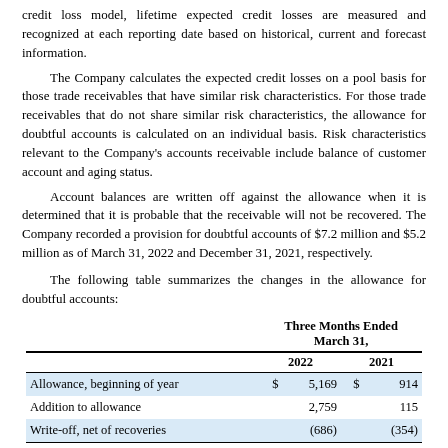credit loss model, lifetime expected credit losses are measured and recognized at each reporting date based on historical, current and forecast information.
The Company calculates the expected credit losses on a pool basis for those trade receivables that have similar risk characteristics. For those trade receivables that do not share similar risk characteristics, the allowance for doubtful accounts is calculated on an individual basis. Risk characteristics relevant to the Company's accounts receivable include balance of customer account and aging status.
Account balances are written off against the allowance when it is determined that it is probable that the receivable will not be recovered. The Company recorded a provision for doubtful accounts of $7.2 million and $5.2 million as of March 31, 2022 and December 31, 2021, respectively.
The following table summarizes the changes in the allowance for doubtful accounts:
|  | 2022 | 2021 |
| --- | --- | --- |
| Allowance, beginning of year | $ 5,169 | $ 914 |
| Addition to allowance | 2,759 | 115 |
| Write-off, net of recoveries | (686) | (354) |